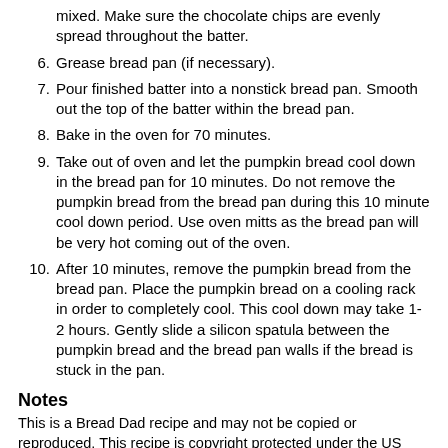mixed. Make sure the chocolate chips are evenly spread throughout the batter.
6. Grease bread pan (if necessary).
7. Pour finished batter into a nonstick bread pan. Smooth out the top of the batter within the bread pan.
8. Bake in the oven for 70 minutes.
9. Take out of oven and let the pumpkin bread cool down in the bread pan for 10 minutes. Do not remove the pumpkin bread from the bread pan during this 10 minute cool down period. Use oven mitts as the bread pan will be very hot coming out of the oven.
10. After 10 minutes, remove the pumpkin bread from the bread pan. Place the pumpkin bread on a cooling rack in order to completely cool. This cool down may take 1-2 hours. Gently slide a silicon spatula between the pumpkin bread and the bread pan walls if the bread is stuck in the pan.
Notes
This is a Bread Dad recipe and may not be copied or reproduced. This recipe is copyright protected under the US Digital Millennium